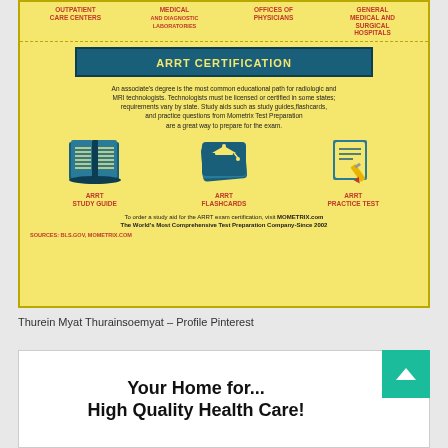[Figure (infographic): ARRT Certification infographic on yellow background. Top row shows employment categories: Outpatient Care Centers, Medical and Diagnostic Laboratories, Offices of Physicians, General Medical and Surgical Hospitals. Center shows ARRT Certification banner. Below is descriptive text about associate's degree and licensing. Three icons: ARRT Study Guide (book), ARRT Flashcards (graduation cap on cards), ARRT Practice Test (paper with pencil). Footer text about ordering from Mometrix.com. Sources: bls.gov, MOMETRIX.com]
Thurein Myat Thurainsoemyat – Profile Pinterest
[Figure (infographic): Advertisement box: 'Your Home for... High Quality Health Care!' with teal scroll-up button]